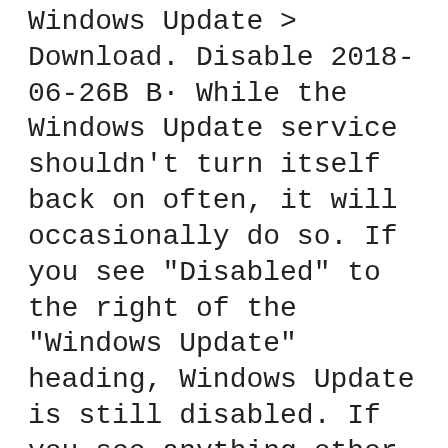Windows Update > Download. Disable 2018-06-26B B· While the Windows Update service shouldn't turn itself back on often, it will occasionally do so. If you see "Disabled" to the right of the "Windows Update" heading, Windows Update is still disabled. If you see anything other than "Disabled" to the right of the "Windows Update" heading, disable the Windows Update again.
2018-03-15B B· Hi In Windows 10 Home version 1607, how do I make sure that it is updated only manually? Thanks Bye Balubeto B· some suggestions (untested by me) http In this tutorial, we will show you how to easily turn off or disable Windows Updates in Windows 10.